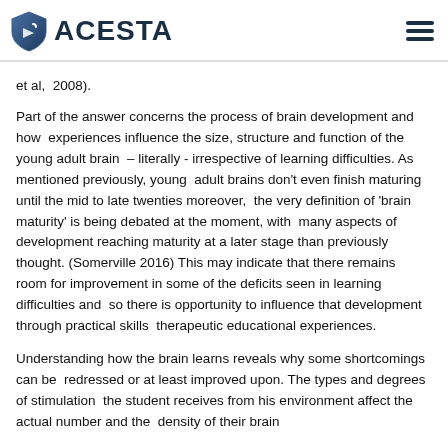ACESTA
et al,  2008).
Part of the answer concerns the process of brain development and how  experiences influence the size, structure and function of the young adult brain  – literally - irrespective of learning difficulties. As mentioned previously, young  adult brains don't even finish maturing until the mid to late twenties moreover,  the very definition of 'brain maturity' is being debated at the moment, with  many aspects of development reaching maturity at a later stage than previously thought. (Somerville 2016) This may indicate that there remains  room for improvement in some of the deficits seen in learning difficulties and  so there is opportunity to influence that development through practical skills  therapeutic educational experiences.
Understanding how the brain learns reveals why some shortcomings can be  redressed or at least improved upon. The types and degrees of stimulation  the student receives from his environment affect the actual number and the  density of their brain